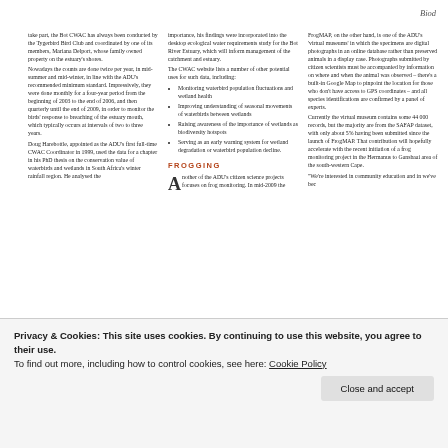Biod
take part, the Bot CWAC has always been conducted by the Tygerbird Bird Club and coordinated by one of its members, Mariana Delport, whose family owned property on the estuary's shores.

Nowadays the counts are done twice per year, in mid-summer and mid-winter, in line with the ADU's recommended minimum standard. Impressively, they were done monthly for a four-year period from the beginning of 2003 to the end of 2006, and then quarterly until the end of 2009, in order to monitor the birds' response to breaching of the estuary mouth, which typically occurs at intervals of two to three years.

Doug Harebottle, appointed as the ADU's first full-time CWAC Coordinator in 1999, used the data for a chapter in his PhD thesis on the conservation value of waterbirds and wetlands in South Africa's winter rainfall region. He analysed the
importance, his findings were incorporated into the desktop ecological water requirements study for the Bot River Estuary, which will inform management of the catchment and estuary.

The CWAC website lists a number of other potential uses for such data, including:
Monitoring waterbird population fluctuations and wetland health
Improving understanding of seasonal movements of waterbirds between wetlands
Raising awareness of the importance of wetlands as biodiversity hotspots
Serving as an early warning system for wetland degradation or waterbird population decline.
FROGGING
Another of the ADU's citizen science projects focuses on frog monitoring. In mid-2009 the
FrogMAP, on the other hand, is one of the ADU's 'virtual museums' in which the specimens are digital photographs in an online database rather than preserved animals in a display case. Photographs submitted by citizen scientists must be accompanied by information on where and when the animal was observed – there's a built-in Google Map to pinpoint the location for those who don't have access to GPS coordinates – and all species identifications are confirmed by a panel of experts.

Currently the virtual museum contains some 44 000 records, but the majority are from the SAFAP dataset, with only about 5% having been submitted since the launch of FrogMAP. That contribution will hopefully accelerate with the recent initiation of a frog monitoring project in the Hermanus to Gansbaai area of the south-western Cape.

"We're interested in community education and in we've bec
Privacy & Cookies: This site uses cookies. By continuing to use this website, you agree to their use.
To find out more, including how to control cookies, see here: Cookie Policy
Close and accept